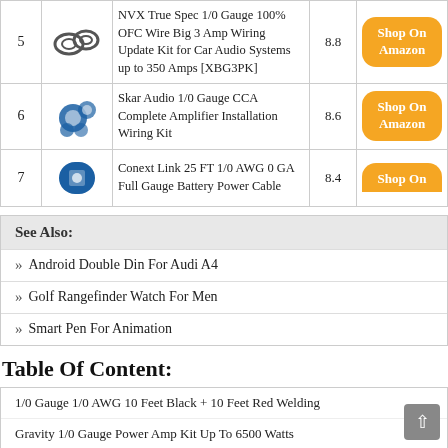| # | Image | Product | Score | Shop |
| --- | --- | --- | --- | --- |
| 5 | [image] | NVX True Spec 1/0 Gauge 100% OFC Wire Big 3 Amp Wiring Update Kit for Car Audio Systems up to 350 Amps [XBG3PK] | 8.8 | Shop On Amazon |
| 6 | [image] | Skar Audio 1/0 Gauge CCA Complete Amplifier Installation Wiring Kit | 8.6 | Shop On Amazon |
| 7 | [image] | Conext Link 25 FT 1/0 AWG 0 GA Full Gauge Battery Power Cable | 8.4 | Shop On Amazon |
See Also:
» Android Double Din For Audi A4
» Golf Rangefinder Watch For Men
» Smart Pen For Animation
Table Of Content:
1/0 Gauge 1/0 AWG 10 Feet Black + 10 Feet Red Welding
Gravity 1/0 Gauge Power Amp Kit Up To 6500 Watts